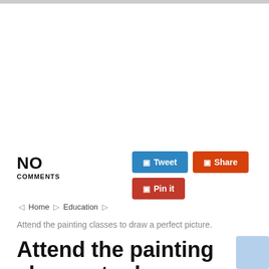NO
COMMENTS
Tweet  Share  Pin it
Home  Education
Attend the painting classes to draw a perfect picture.
Attend the painting classes to draw a perfect picture.